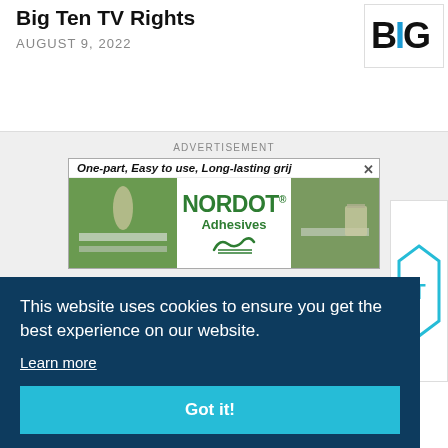Big Ten TV Rights
AUGUST 9, 2022
[Figure (logo): BIG Ten logo — large bold BIG text in black with blue accent]
[Figure (screenshot): ADVERTISEMENT: One-part, Easy to use, Long-lasting grij — Nordot Adhesives ad with turf installation photos]
This website uses cookies to ensure you get the best experience on our website.
Learn more
Got it!